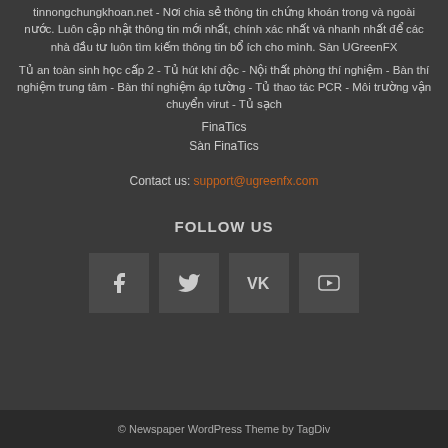tinnongchungkhoan.net - Nơi chia sẻ thông tin chứng khoán trong và ngoài nước. Luôn cập nhật thông tin mới nhất, chính xác nhất và nhanh nhất để các nhà đầu tư luôn tìm kiếm thông tin bổ ích cho mình. Sàn UGreenFX
Tủ an toàn sinh học cấp 2 - Tủ hút khí độc - Nội thất phòng thí nghiệm - Bàn thí nghiệm trung tâm - Bàn thí nghiệm áp tường - Tủ thao tác PCR - Môi trường vận chuyển virut - Tủ sạch
FinaTics
Sàn FinaTics
Contact us: support@ugreenfx.com
FOLLOW US
[Figure (infographic): Four social media icon buttons: Facebook (f), Twitter (bird), VK (VK letters), YouTube (play button)]
© Newspaper WordPress Theme by TagDiv